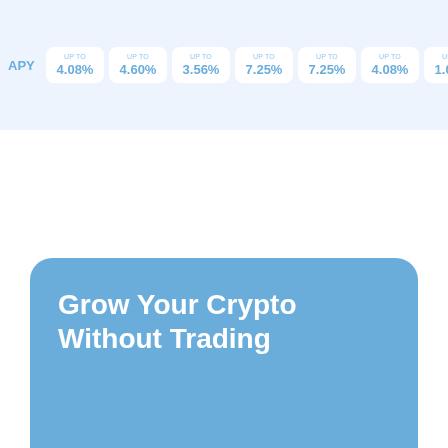| APY | Rate 1 | Rate 2 | Rate 3 | Rate 4 | Rate 5 | Rate 6 | Rate 7 |
| --- | --- | --- | --- | --- | --- | --- | --- |
| APY | 4.08% | 4.60% | 3.56% | 7.25% | 7.25% | 4.08% | 1.00% |
Grow Your Crypto Without Trading